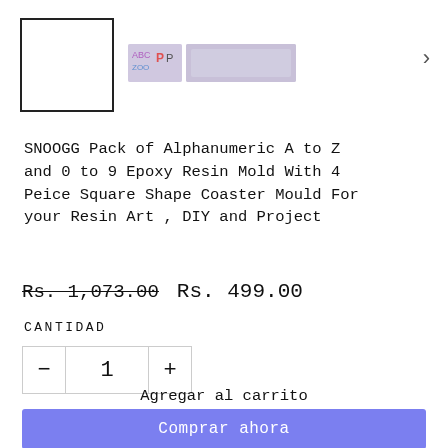[Figure (photo): Product image strip showing an outlined square box on the left (thumbnail placeholder), two rows of product thumbnails in the center (colorful alphabet mold images), and a wider landscape thumbnail. A right arrow chevron is on the far right.]
SNOOGG Pack of Alphanumeric A to Z and 0 to 9 Epoxy Resin Mold With 4 Peice Square Shape Coaster Mould For your Resin Art , DIY and Project
Rs. 1,073.00 Rs. 499.00
CANTIDAD
- 1 +
Agregar al carrito
Comprar ahora